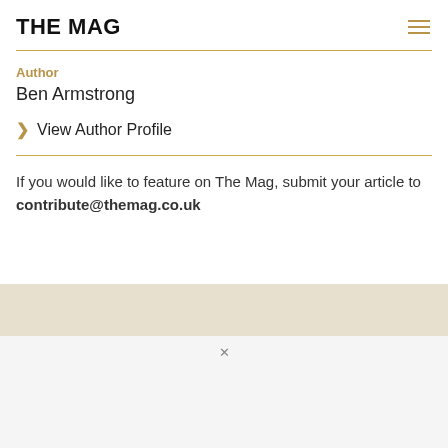THE MAG
Author
Ben Armstrong
View Author Profile
If you would like to feature on The Mag, submit your article to contribute@themag.co.uk